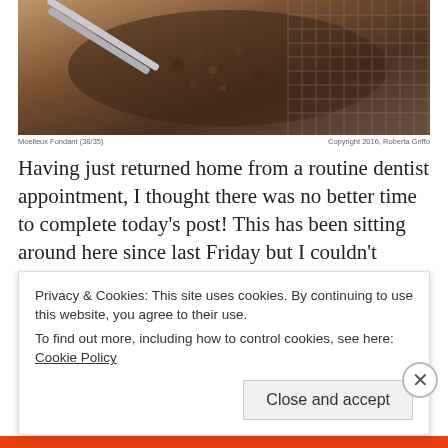[Figure (photo): Food photo showing what appears to be a chocolate or brownie dish with metal tongs/utensil on a wire cooling rack]
Moelleux Fondant (38/35)    Copyright 2016, Roberta Griffo
Having just returned home from a routine dentist appointment, I thought there was no better time to complete today's post! This has been sitting around here since last Friday but I couldn't complete it in time. Today, after having recuperated some much-needed sleep throughout the night, I can say that it's the first time in a month I feel rested. The sciatica pain is slowly dying down and telling you that I am relieved is definitely an understatement. Cheers to that.
Continue reading →
Privacy & Cookies: This site uses cookies. By continuing to use this website, you agree to their use.
To find out more, including how to control cookies, see here: Cookie Policy
Close and accept